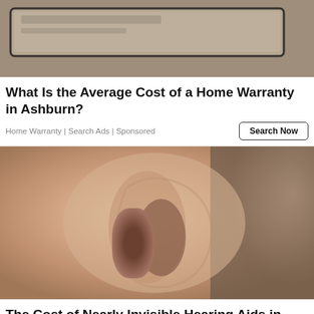[Figure (photo): Photo of weathered/peeling wall surface with a rectangular metal object, top portion of a sponsored home warranty ad]
What Is the Average Cost of a Home Warranty in Ashburn?
Home Warranty | Search Ads | Sponsored
Search Now
[Figure (photo): Close-up macro photo of a human ear, accompanying a sponsored hearing aids advertisement]
The Cost of Nearly Invisible Hearing Aids in Ashburn Might Surprise You
Invisible Hearing Aids | Sponsored